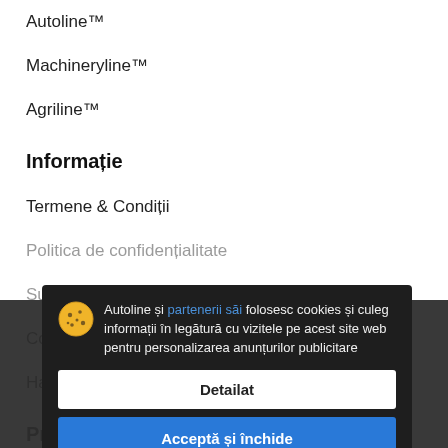Autoline™
Machineryline™
Agriline™
Informație
Termene & Condiții
Politica de confidențialitate
Sugestii
Comunitatea vânzătorilor
Hartă site
Propunerile noastre
Publica anunț
Autoline și partenerii săi folosesc cookies și culeg informații în legătură cu vizitele pe acest site web pentru personalizarea anunțurilor publicitare
Detailat
Acceptă și închide